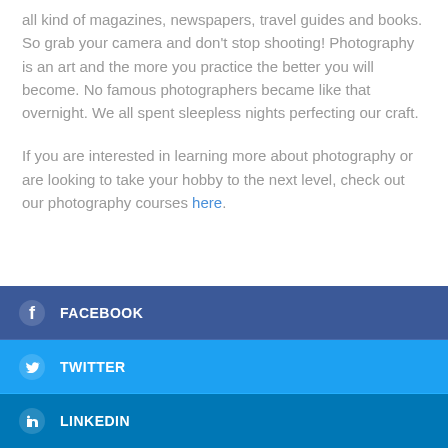all kind of magazines, newspapers, travel guides and books. So grab your camera and don't stop shooting! Photography is an art and the more you practice the better you will become. No famous photographers became like that overnight. We all spent sleepless nights perfecting our craft.
If you are interested in learning more about photography or are looking to take your hobby to the next level, check out our photography courses here.
FACEBOOK
TWITTER
LINKEDIN